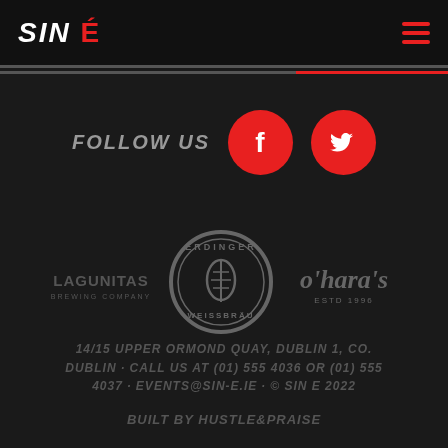SIN É
FOLLOW US
[Figure (logo): Facebook icon in red circle]
[Figure (logo): Twitter icon in red circle]
[Figure (logo): Lagunitas beer brand logo in grey]
[Figure (logo): Erdinger Weissbräu circular badge logo in grey]
[Figure (logo): O'Hara's Est. 1996 logo in grey]
14/15 UPPER ORMOND QUAY, DUBLIN 1, CO. DUBLIN · CALL US AT (01) 555 4036 OR (01) 555 4037 · EVENTS@SIN-E.IE · © SIN E 2022
BUILT BY HUSTLE&PRAISE